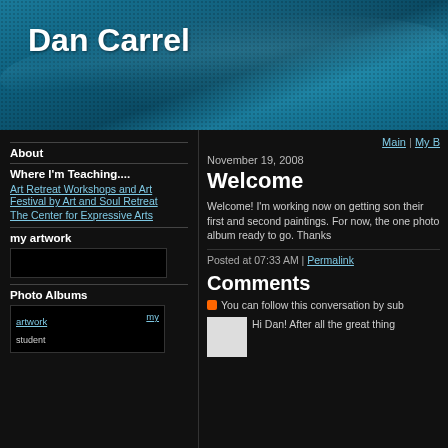Dan Carrel
Main | My B
About
Where I'm Teaching....
Art Retreat Workshops and Art Festival by Art and Soul Retreat
The Center for Expressive Arts
my artwork
Photo Albums
November 19, 2008
Welcome
Welcome! I'm working now on getting son their first and second paintings. For now, the one photo album ready to go. Thanks
Posted at 07:33 AM | Permalink
Comments
You can follow this conversation by sub
Hi Dan! After all the great thing
[Figure (photo): Small square avatar/photo placeholder, light grey]